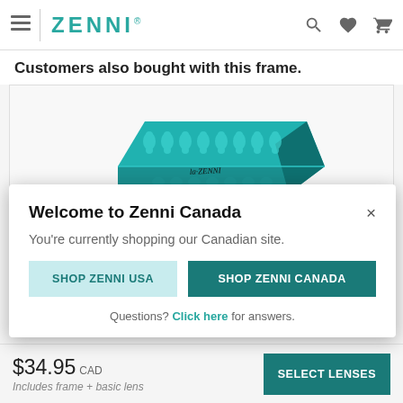ZENNI
Customers also bought with this frame.
[Figure (photo): Teal/turquoise patterned Zenni glasses case with decorative damask design and script Zenni signature]
Welcome to Zenni Canada
You're currently shopping our Canadian site.
SHOP ZENNI USA | SHOP ZENNI CANADA
Questions? Click here for answers.
$34.95 CAD
Includes frame + basic lens